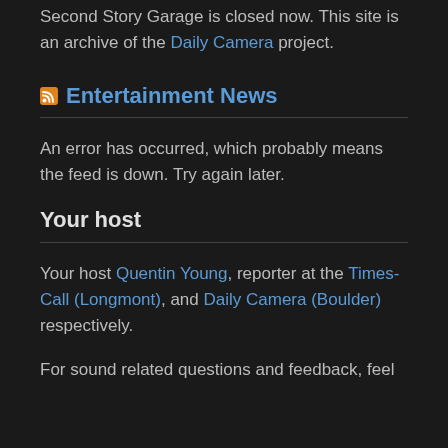Second Story Garage is closed now. This site is an archive of the Daily Camera project.
Entertainment News
An error has occurred, which probably means the feed is down. Try again later.
Your host
Your host Quentin Young, reporter at the Times-Call (Longmont), and Daily Camera (Boulder) respectively.
For sound related questions and feedback, feel